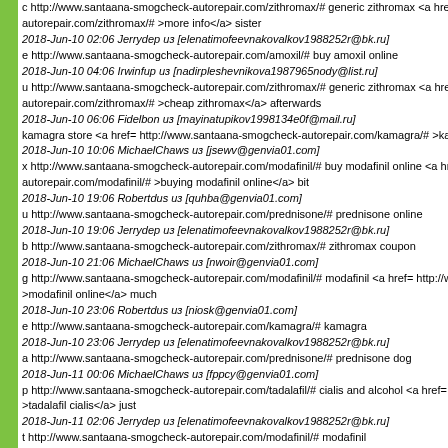c http://www.santaana-smogcheck-autorepair.com/zithromax/# generic zithromax <a hre autorepair.com/zithromax/# >more info</a> sister
2018-Jun-10 02:06 Jerrydep из [elenatimofeevnakovalkov1988252r@bk.ru]
e http://www.santaana-smogcheck-autorepair.com/amoxil/# buy amoxil online
2018-Jun-10 04:06 Irwinfup из [nadirpleshevnikova1987965nody@list.ru]
u http://www.santaana-smogcheck-autorepair.com/zithromax/# generic zithromax <a href= autorepair.com/zithromax/# >cheap zithromax</a> afterwards
2018-Jun-10 06:06 Fidelbon из [mayinatupikov1998134e0f@mail.ru]
kamagra store <a href= http://www.santaana-smogcheck-autorepair.com/kamagra/# >ka
2018-Jun-10 10:06 MichaelChaws из [jsewv@genvia01.com]
x http://www.santaana-smogcheck-autorepair.com/modafinil/# buy modafinil online <a hre autorepair.com/modafinil/# >buying modafinil online</a> bit
2018-Jun-10 19:06 Robertdus из [quhba@genvia01.com]
u http://www.santaana-smogcheck-autorepair.com/prednisone/# prednisone online
2018-Jun-10 19:06 Jerrydep из [elenatimofeevnakovalkov1988252r@bk.ru]
b http://www.santaana-smogcheck-autorepair.com/zithromax/# zithromax coupon
2018-Jun-10 21:06 MichaelChaws из [nwoir@genvia01.com]
g http://www.santaana-smogcheck-autorepair.com/modafinil/# modafinil <a href= http://ww >modafinil online</a> much
2018-Jun-10 23:06 Robertdus из [niosk@genvia01.com]
e http://www.santaana-smogcheck-autorepair.com/kamagra/# kamagra
2018-Jun-10 23:06 Jerrydep из [elenatimofeevnakovalkov1988252r@bk.ru]
a http://www.santaana-smogcheck-autorepair.com/prednisone/# prednisone dog
2018-Jun-11 00:06 MichaelChaws из [fppcy@genvia01.com]
p http://www.santaana-smogcheck-autorepair.com/tadalafil/# cialis and alcohol <a href= h >tadalafil cialis</a> just
2018-Jun-11 02:06 Jerrydep из [elenatimofeevnakovalkov1988252r@bk.ru]
t http://www.santaana-smogcheck-autorepair.com/modafinil/# modafinil
2018-Jun-11 02:06 Robertdus из [zispr@genvia01.com]
g http://www.santaana-smogcheck-autorepair.com/amoxil/# buy amoxil online
2018-Jun-11 04:06 MichaelChaws из [yadsm@genvia01.com]
a http://www.santaana-smogcheck-autorepair.com/modafinil/# buy modafinil online <a hre